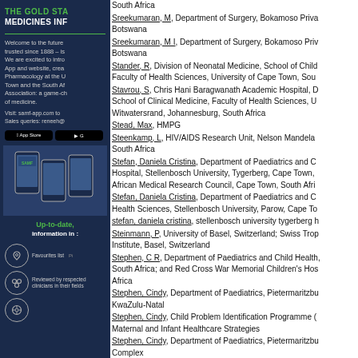[Figure (illustration): Left sidebar advertisement for The Gold Standard Medicines Information app, dark navy background with gold/green title, app store buttons, phone mockups, and feature icons]
Sreekumaran, M, Department of Surgery, Bokamoso Private Hospital, Botswana
Sreekumaran, M I, Department of Surgery, Bokamoso Private Hospital, Botswana
Stander, R, Division of Neonatal Medicine, School of Child and Adolescent Health, Faculty of Health Sciences, University of Cape Town, South Africa
Stavrou, S, Chris Hani Baragwanath Academic Hospital, Department of Surgery, School of Clinical Medicine, Faculty of Health Sciences, University of the Witwatersrand, Johannesburg, South Africa
Stead, Max, HMPG
Steenkamp, L, HIV/AIDS Research Unit, Nelson Mandela Bay, South Africa
Stefan, Daniela Cristina, Department of Paediatrics and Child Health, Tygerberg Hospital, Stellenbosch University, Tygerberg, Cape Town, South Africa; South African Medical Research Council, Cape Town, South Africa
Stefan, Daniela Cristina, Department of Paediatrics and Child Health, Faculty of Health Sciences, Stellenbosch University, Parow, Cape Town, South Africa
stefan, daniela cristina, stellenbosch university tygerberg hospital
Steinmann, P, University of Basel, Switzerland; Swiss Tropical and Public Health Institute, Basel, Switzerland
Stephen, C R, Department of Paediatrics and Child Health, South Africa; and Red Cross War Memorial Children's Hospital, South Africa
Stephen, Cindy, Department of Paediatrics, Pietermaritzburg, KwaZulu-Natal
Stephen, Cindy, Child Problem Identification Programme (CHIPPS), Maternal and Infant Healthcare Strategies
Stephen, Cindy, Department of Paediatrics, Pietermaritzburg Complex
Stephen, Lawrence, Faculty of Dentistry, University of the Western Cape, Cape Town, South Africa; University of the Western Cape; Dental Genetics Clinic, Red Cross War Memorial Children's Hospital